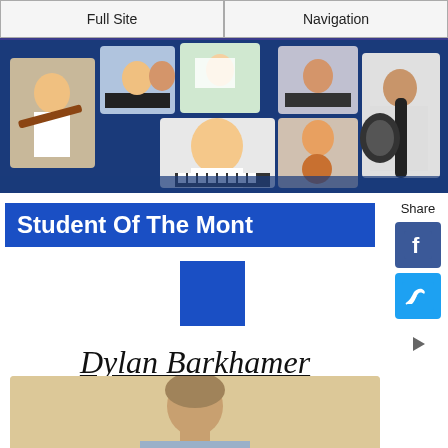Full Site | Navigation
[Figure (photo): Banner collage of students playing various musical instruments including guitar, piano, violin, and keyboard]
Share
Student Of The Month
[Figure (photo): Blue square placeholder image]
Dylan Barkhamer
[Figure (photo): Portrait photo of Dylan Barkhamer, a young person with light hair]